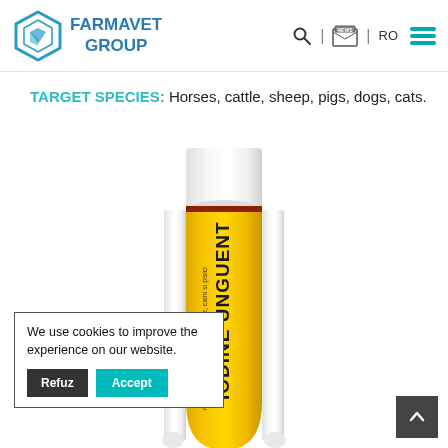[Figure (logo): Farmavet Group logo with teal hexagonal icon and blue text]
TARGET SPECIES: Horses, cattle, sheep, pigs, dogs, cats.
[Figure (photo): Yellow tube of iodine unguent veterinary product – IODINE UNGUENT label, text includes 'ru cabaline, bovine, ovine, suine, caini si pisici']
We use cookies to improve the experience on our website.
Refuz
Accept